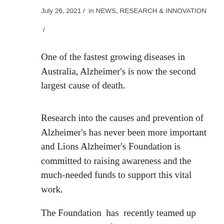July 26, 2021 / in NEWS, RESEARCH & INNOVATION /
One of the fastest growing diseases in Australia, Alzheimer's is now the second largest cause of death.
Research into the causes and prevention of Alzheimer's has never been more important and Lions Alzheimer's Foundation is committed to raising awareness and the much-needed funds to support this vital work.
The Foundation has recently teamed up with celebrity chef Maggie…